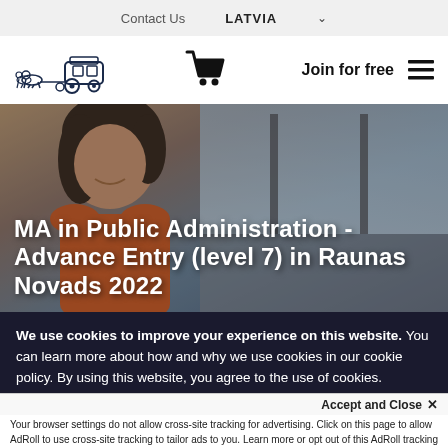Contact Us   LATVIA ▾
[Figure (logo): Carriage with horses logo (dark navy illustration)]
[Figure (illustration): Shopping cart icon]
Join for free ≡
[Figure (photo): Young woman smiling, looking out a car window, with hero text overlay: MA in Public Administration - Advance Entry (level 7) in Raunas Novads 2022]
MA in Public Administration - Advance Entry (level 7) in Raunas Novads 2022
We use cookies to improve your experience on this website. You can learn more about how and why we use cookies in our cookie policy. By using this website, you agree to the use of cookies.
Accept and Close ✕
Your browser settings do not allow cross-site tracking for advertising. Click on this page to allow AdRoll to use cross-site tracking to tailor ads to you. Learn more or opt out of this AdRoll tracking by clicking here. This message only appears once.